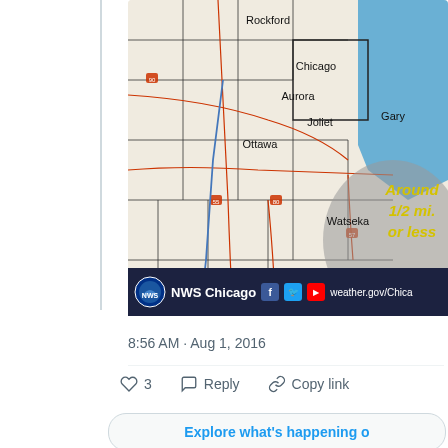[Figure (map): NWS Chicago weather map showing northern Illinois region including Rockford, Aurora, Joliet, Ottawa, Watseka, Chicago, and Gary. A gray shaded region in the southeast portion of the map indicates reduced visibility with text 'Around 1/2 mi. or less' in yellow/gold text. Lake Michigan visible in blue upper right. Red roads/highways and black county borders visible.]
8:56 AM · Aug 1, 2016
3  Reply  Copy link
Explore what's happening o